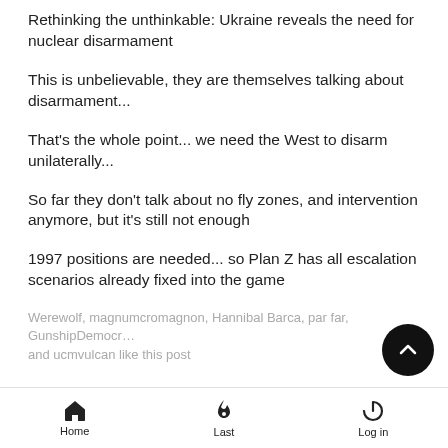Rethinking the unthinkable: Ukraine reveals the need for nuclear disarmament
This is unbelievable, they are themselves talking about disarmament...
That's the whole point... we need the West to disarm unilaterally...
So far they don't talk about no fly zones, and intervention anymore, but it's still not enough
1997 positions are needed... so Plan Z has all escalation scenarios already fixed into the game
Werewolf, magnumcromagnon, Hannibal Barca, par far, GunshipDemocr… and ucmvulcan like this post
Home  Last  Log in